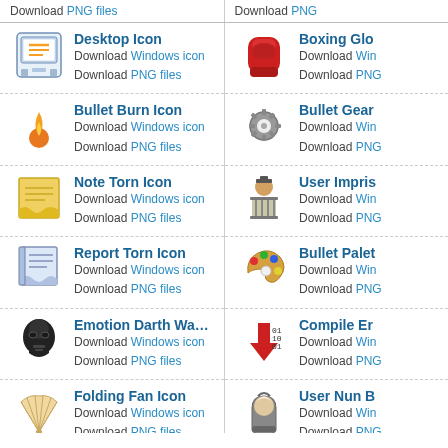Download PNG files
Download PNG files (right column)
Desktop Icon
Download Windows icon
Download PNG files
Boxing Gloves Icon
Download Windows icon
Download PNG files
Bullet Burn Icon
Download Windows icon
Download PNG files
Bullet Gear Icon
Download Windows icon
Download PNG files
Note Torn Icon
Download Windows icon
Download PNG files
User Imprisoned Icon
Download Windows icon
Download PNG files
Report Torn Icon
Download Windows icon
Download PNG files
Bullet Palette Icon
Download Windows icon
Download PNG files
Emotion Darth Wader Icon
Download Windows icon
Download PNG files
Compile Error Icon
Download Windows icon
Download PNG files
Folding Fan Icon
Download Windows icon
Download PNG files
User Nun Icon
Download Windows icon
Download PNG files